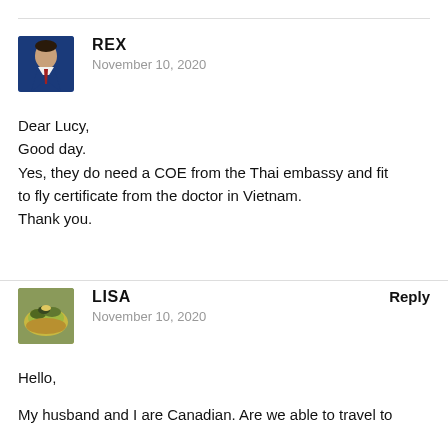[Figure (photo): Avatar photo of Rex, a man in a blue suit, cropped headshot]
REX
November 10, 2020
Dear Lucy,
Good day.
Yes, they do need a COE from the Thai embassy and fit to fly certificate from the doctor in Vietnam.
Thank you.
[Figure (photo): Avatar photo of Lisa, showing food/salad dish]
LISA
November 10, 2020
Reply
Hello,
My husband and I are Canadian. Are we able to travel to